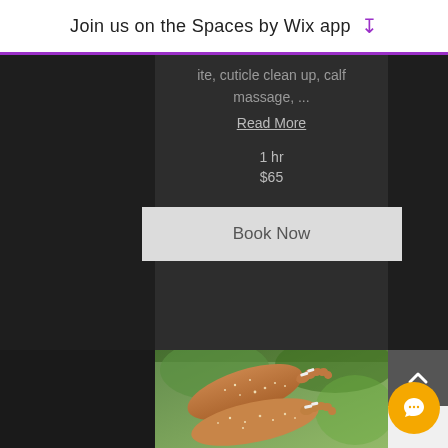Join us on the Spaces by Wix app
ite, cuticle clean up, calf massage, ...
Read More
1 hr
$65
Book Now
[Figure (photo): Close-up photo of feet with sugar scrub / salt exfoliant on them, with green blurred background]